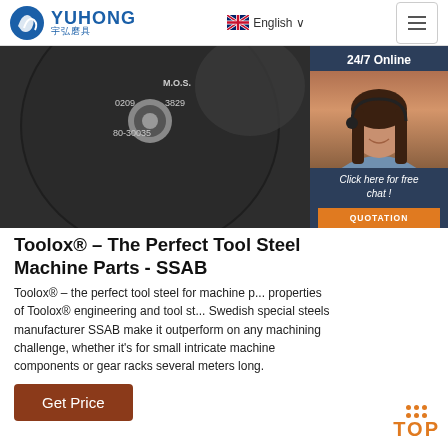YUHONG 宇弘磨具 | English | Menu
[Figure (photo): Dark circular grinding disc/cutting wheel with text markings (M.O.S., 0209, 3829, 80-30035) on dark background, with a second disc visible behind it; overlaid with customer service chat widget showing a woman with headset]
Toolox® – The Perfect Tool Steel Machine Parts - SSAB
Toolox® – the perfect tool steel for machine parts properties of Toolox® engineering and tool st… Swedish special steels manufacturer SSAB make it outperform on any machining challenge, whether it's for small intricate machine components or gear racks several meters long.
Get Price